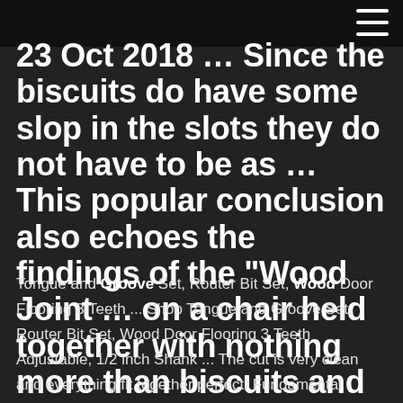23 Oct 2018 … Since the biscuits do have some slop in the slots they do not have to be as … This popular conclusion also echoes the findings of the "Wood Joint … on a chair held together with nothing more than biscuits and a little glue?
Tongue and Groove Set, Router Bit Set, Wood Door Flooring 3 Teeth ... Shop Tongue and Groove Set, Router Bit Set, Wood Door Flooring 3 Teeth Adjustable, 1/2 inch Shank ... The cut is very clean and everything fit together perfect. Fundamental Construction Techniques for Furniture &